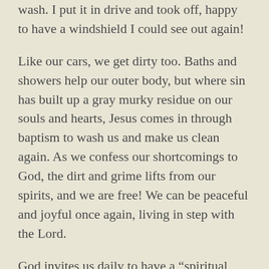wash. I put it in drive and took off, happy to have a windshield I could see out again!
Like our cars, we get dirty too. Baths and showers help our outer body, but where sin has built up a gray murky residue on our souls and hearts, Jesus comes in through baptism to wash us and make us clean again. As we confess our shortcomings to God, the dirt and grime lifts from our spirits, and we are free! We can be peaceful and joyful once again, living in step with the Lord.
God invites us daily to have a “spiritual wash”. He invites us to unload any sins, fears, anxieties, troubles, and doubts and come out clean again. Let’s come to Him today!
Prayer—“God, you are gracious and merciful and desire to wash me clean of my sin and shame. I